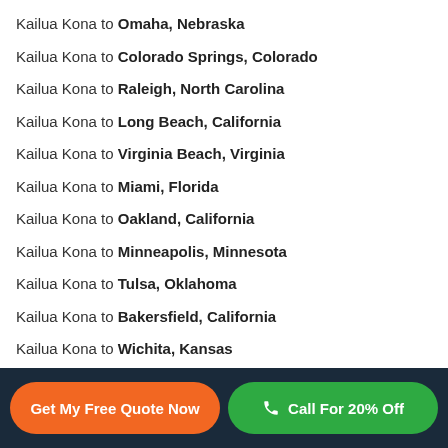Kailua Kona to Omaha, Nebraska
Kailua Kona to Colorado Springs, Colorado
Kailua Kona to Raleigh, North Carolina
Kailua Kona to Long Beach, California
Kailua Kona to Virginia Beach, Virginia
Kailua Kona to Miami, Florida
Kailua Kona to Oakland, California
Kailua Kona to Minneapolis, Minnesota
Kailua Kona to Tulsa, Oklahoma
Kailua Kona to Bakersfield, California
Kailua Kona to Wichita, Kansas
Kailua Kona to Arlington, Texas
Kailua Kona to Aurora, Colorado
Get My Free Quote Now | Call For 20% Off